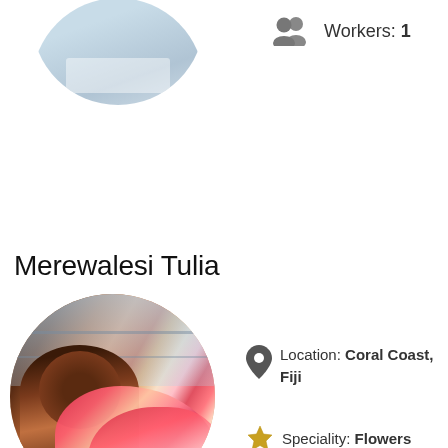[Figure (photo): Circular cropped photo of a person at a table/indoor setting, partially visible at top of page]
Workers: 1
Merewalesi Tulia
[Figure (photo): Circular cropped photo of Merewalesi Tulia, a woman smiling, wearing a pink top, holding or standing near a large arrangement of tropical pink flowers]
Location: Coral Coast, Fiji
Speciality: Flowers